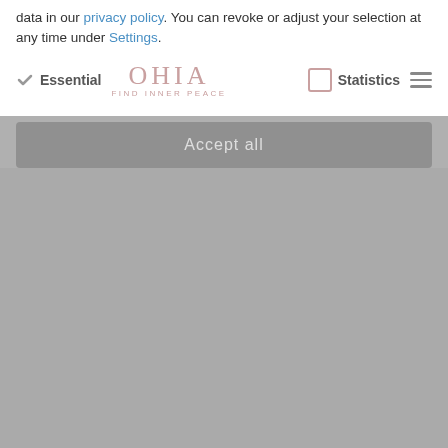data in our privacy policy. You can revoke or adjust your selection at any time under Settings.
Essential  [logo: OHIA FIND INNER PEACE]  Statistics  [hamburger menu]
Accept all
[Figure (screenshot): Gray overlay covering most of page, representing a cookie consent modal overlay on a website]